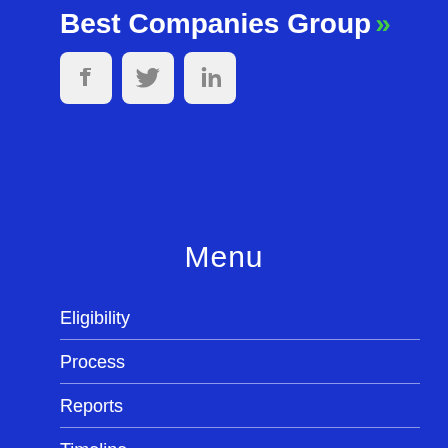Best Companies Group »»
[Figure (logo): Social media icons for Facebook, Twitter, and LinkedIn, displayed as rounded square buttons with grey icons on light grey background]
Menu
Eligibility
Process
Reports
Timeline
Winners